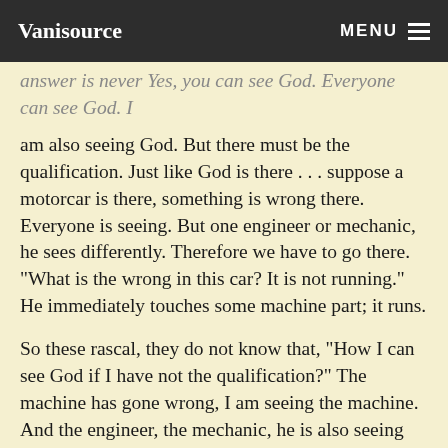Vanisource | MENU
answer is never Yes, you can see God. Everyone can see God. I am also seeing God. But there must be the qualification. Just like God is there . . . suppose a motorcar is there, something is wrong there. Everyone is seeing. But one engineer or mechanic, he sees differently. Therefore we have to go there. "What is the wrong in this car? It is not running." He immediately touches some machine part; it runs.
So these rascal, they do not know that, "How I can see God if I have not the qualification?" The machine has gone wrong, I am seeing the machine. And the engineer, the mechanic, he is also seeing the machine. But his seeing and my seeing is different. He's qualified to see. Therefore when the machine has gone wrong, immediately he touches some part, it runs. So if for a machine we require so much qualification, and we want to see God without any qualification? Just see the fun. Without any qualification. Rascal, they are so rascal, so fool, that they want to